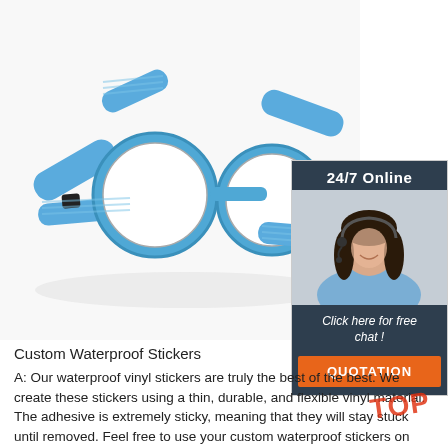[Figure (photo): Blue velcro wrist strap device with two circular white-faced round mirrors/pads, shown on white background]
[Figure (photo): Customer service sidebar: dark background with '24/7 Online' text, photo of a smiling woman with headset, 'Click here for free chat!' text in italic, and orange QUOTATION button]
Custom Waterproof Stickers
A: Our waterproof vinyl stickers are truly the best of the best. We create these stickers using a thin, durable, and flexible vinyl material. The adhesive is extremely sticky, meaning that they will stay stuck until removed. Feel free to use your custom waterproof stickers on mugs, glasses, and plates, as the adhesive is even microwave and